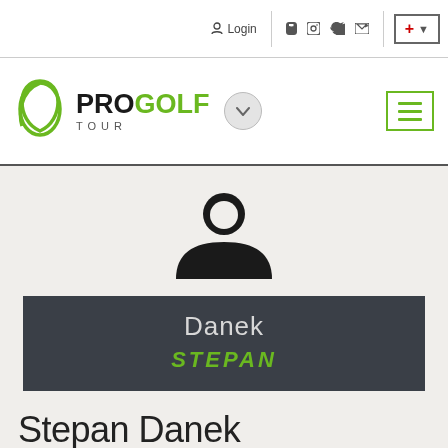Login  [social icons]  +
[Figure (logo): Pro Golf Tour logo with green arc, chevron dropdown button, and hamburger menu icon]
[Figure (illustration): Generic user/person silhouette icon in black]
Danek
STEPAN
Stepan Danek